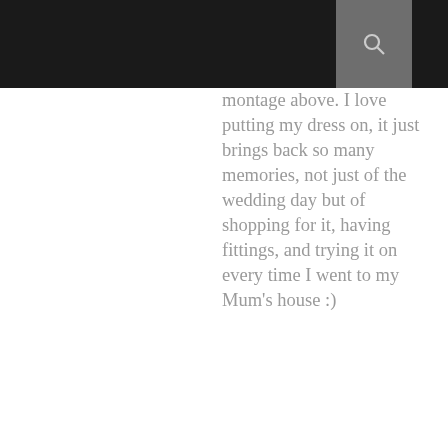montage above. I love putting my dress on, it just brings back so many memories, not just of the wedding day but of shopping for it, having fittings, and trying it on every time I went to my Mum's house :)
Reply
Enter comment